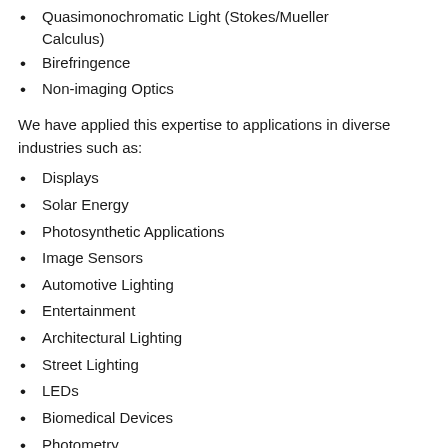Quasimonochromatic Light (Stokes/Mueller Calculus)
Birefringence
Non-imaging Optics
We have applied this expertise to applications in diverse industries such as:
Displays
Solar Energy
Photosynthetic Applications
Image Sensors
Automotive Lighting
Entertainment
Architectural Lighting
Street Lighting
LEDs
Biomedical Devices
Photometry
Industrial Sensing & Quality Control